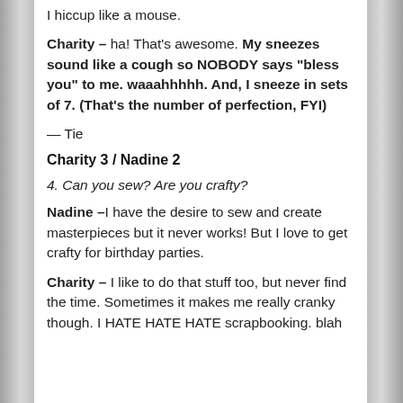I hiccup like a mouse.
Charity – ha! That's awesome. My sneezes sound like a cough so NOBODY says "bless you" to me. waaahhhhh. And, I sneeze in sets of 7. (That's the number of perfection, FYI)
— Tie
Charity 3 / Nadine 2
4. Can you sew? Are you crafty?
Nadine –I have the desire to sew and create masterpieces but it never works! But I love to get crafty for birthday parties.
Charity – I like to do that stuff too, but never find the time. Sometimes it makes me really cranky though. I HATE HATE HATE scrapbooking. blah